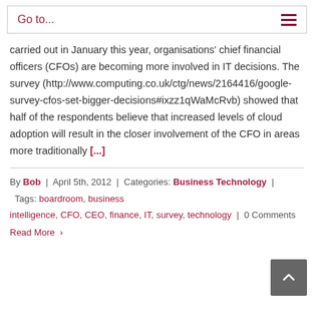Go to...
carried out in January this year, organisations' chief financial officers (CFOs) are becoming more involved in IT decisions. The survey (http://www.computing.co.uk/ctg/news/2164416/google-survey-cfos-set-bigger-decisions#ixzz1qWaMcRvb) showed that half of the respondents believe that increased levels of cloud adoption will result in the closer involvement of the CFO in areas more traditionally [...]
By Bob | April 5th, 2012 | Categories: Business Technology | Tags: boardroom, business intelligence, CFO, CEO, finance, IT, survey, technology | 0 Comments
Read More >